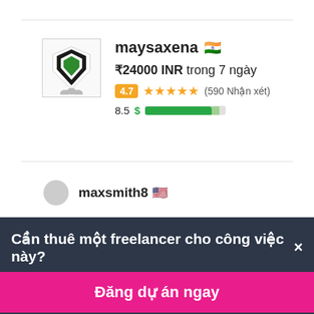[Figure (screenshot): Freelancer profile card for maysaxena with avatar logo, bid of ₹24000 INR in 7 days, rating 4.7 stars (590 reviews), score 8.5]
maysaxena 🇮🇳
₹24000 INR trong 7 ngày
4.7 ★★★★★ (590 Nhận xét)
8.5
maxsmith8 🇺🇸
Cần thuê một freelancer cho công việc này? ×
Đăng dự án ngay